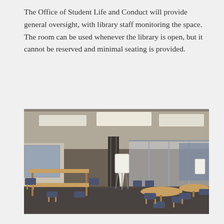The Office of Student Life and Conduct will provide general oversight, with library staff monitoring the space. The room can be used whenever the library is open, but it cannot be reserved and minimal seating is provided.
[Figure (photo): Interior photo of a library study room showing tables and chairs with navy/dark blue upholstered armchairs, rectangular wooden tables on the left, round wooden tables on the right, a central structural column, glass partition walls, recessed ceiling lights, and a whiteboard easel in the center background.]